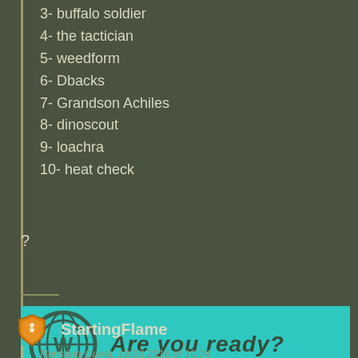3- buffalo soldier
4- the tactician
5- weedform
6- Dbacks
7- Grandson Achiles
8- dinoscout
9- loachra
10- heat check
?
[Figure (logo): Cyan banner with circular logo/emblem on left and text 'Are you ready?' in dark italic handwritten font]
19.03.2016 - 13:55  +2
StartingFlame
Nansáno Guest, 19.03.2016 at 10:24